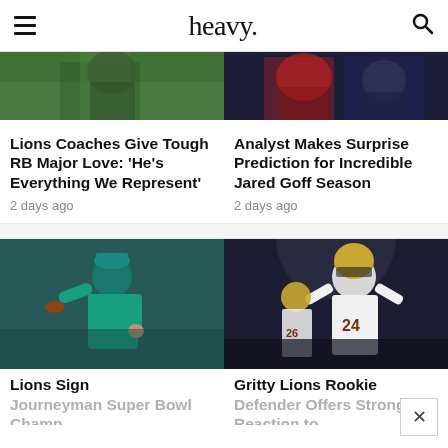heavy.
[Figure (photo): Partial top image of football player on green field]
[Figure (photo): Partial top image of football players on dark background]
Lions Coaches Give Tough RB Major Love: ‘He’s Everything We Represent’
2 days ago
Analyst Makes Surprise Prediction for Incredible Jared Goff Season
2 days ago
[Figure (photo): Football player in teal uniform throwing a football]
[Figure (photo): Football player in white uniform number 24 celebrating]
Lions Sign Journeyman Super Bowl Champ
Gritty Lions Rookie Defender Offers Strong Reaction to